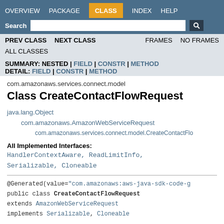OVERVIEW  PACKAGE  CLASS  INDEX  HELP  Search
PREV CLASS  NEXT CLASS  FRAMES  NO FRAMES
ALL CLASSES
SUMMARY: NESTED | FIELD | CONSTR | METHOD  DETAIL: FIELD | CONSTR | METHOD
com.amazonaws.services.connect.model
Class CreateContactFlowRequest
java.lang.Object
    com.amazonaws.AmazonWebServiceRequest
        com.amazonaws.services.connect.model.CreateContactFlo...
All Implemented Interfaces:
HandlerContextAware, ReadLimitInfo,
Serializable, Cloneable
@Generated(value="com.amazonaws:aws-java-sdk-code-g
public class CreateContactFlowRequest
extends AmazonWebServiceRequest
implements Serializable, Cloneable